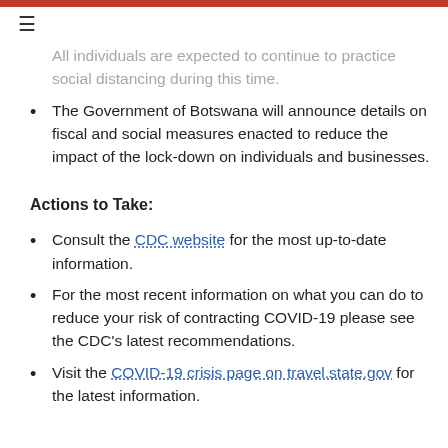All individuals are expected to continue to practice social distancing during this time.
The Government of Botswana will announce details on fiscal and social measures enacted to reduce the impact of the lock-down on individuals and businesses.
Actions to Take:
Consult the CDC website for the most up-to-date information.
For the most recent information on what you can do to reduce your risk of contracting COVID-19 please see the CDC's latest recommendations.
Visit the COVID-19 crisis page on travel.state.gov for the latest information.